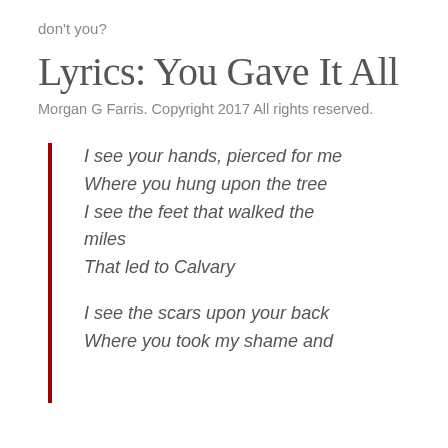don't you?
Lyrics: You Gave It All
Morgan G Farris. Copyright 2017 All rights reserved.
I see your hands, pierced for me
Where you hung upon the tree
I see the feet that walked the miles
That led to Calvary
I see the scars upon your back
Where you took my shame and